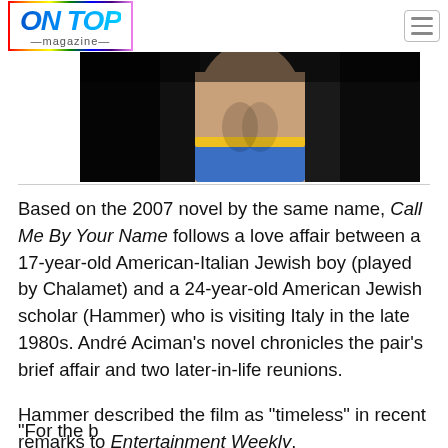ON TOP magazine
[Figure (photo): Partial view of a person's torso and lower back wearing blue swimwear/briefs with a yellow waistband, photographed from behind against a dark background]
Based on the 2007 novel by the same name, Call Me By Your Name follows a love affair between a 17-year-old American-Italian Jewish boy (played by Chalamet) and a 24-year-old American Jewish scholar (Hammer) who is visiting Italy in the late 1980s. André Aciman's novel chronicles the pair's brief affair and two later-in-life reunions.
Hammer described the film as “timeless” in recent remarks to Entertainment Weekly.
“For the b...